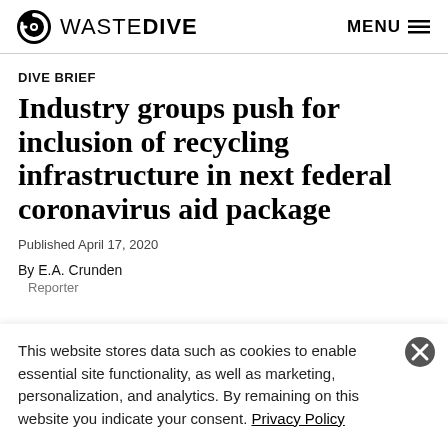WASTE DIVE  MENU
DIVE BRIEF
Industry groups push for inclusion of recycling infrastructure in next federal coronavirus aid package
Published April 17, 2020
By E.A. Crunden
Reporter
This website stores data such as cookies to enable essential site functionality, as well as marketing, personalization, and analytics. By remaining on this website you indicate your consent. Privacy Policy